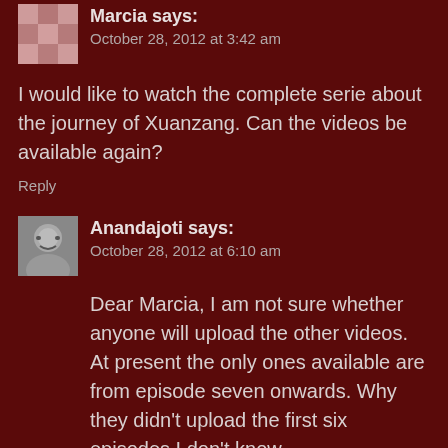Marcia says: October 28, 2012 at 3:42 am
I would like to watch the complete serie about the journey of Xuanzang. Can the videos be available again?
Reply
Anandajoti says: October 28, 2012 at 6:10 am
Dear Marcia, I am not sure whether anyone will upload the other videos. At present the only ones available are from episode seven onwards. Why they didn't upload the first six episodes I don't know.
Reply